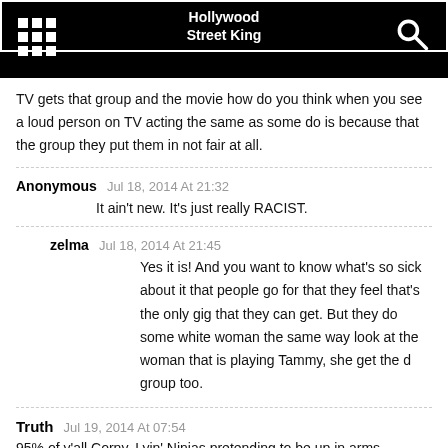Hollywood Street King
TV gets that group and the movie how do you think when you see a loud person on TV acting the same as some do is because that the group they put them in not fair at all.
Anonymous  Jul 18, 2014 At 21:32
It ain't new. It's just really RACIST.
zelma  Jul 18, 2014 At 21:45
Yes it is! And you want to know what's so sick about it that people go for that they feel that's the only gig that they can get. But they do some white woman the same way look at the woman that is playing Tammy, she get the d group too.
Truth  Jul 19, 2014 At 07:54
95% of y'all Corny, Lyin' Ninjas pretending to be up in arms